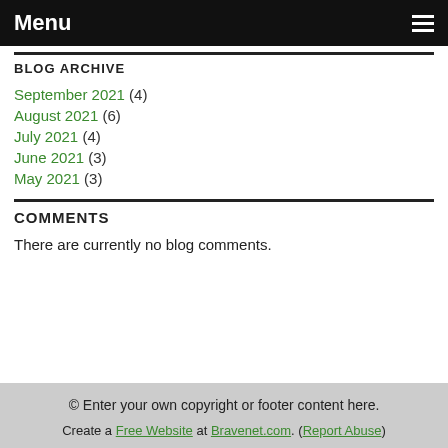Menu
BLOG ARCHIVE
September 2021 (4)
August 2021 (6)
July 2021 (4)
June 2021 (3)
May 2021 (3)
COMMENTS
There are currently no blog comments.
© Enter your own copyright or footer content here. Create a Free Website at Bravenet.com. (Report Abuse)